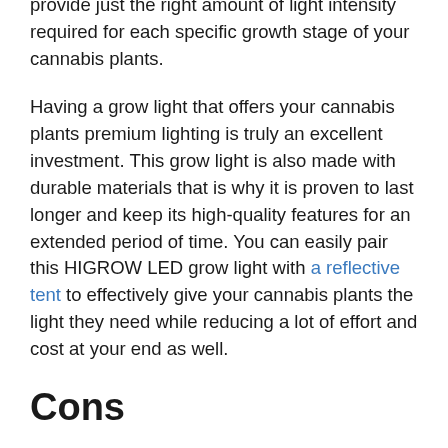provide just the right amount of light intensity required for each specific growth stage of your cannabis plants.
Having a grow light that offers your cannabis plants premium lighting is truly an excellent investment. This grow light is also made with durable materials that is why it is proven to last longer and keep its high-quality features for an extended period of time. You can easily pair this HIGROW LED grow light with a reflective tent to effectively give your cannabis plants the light they need while reducing a lot of effort and cost at your end as well.
Cons